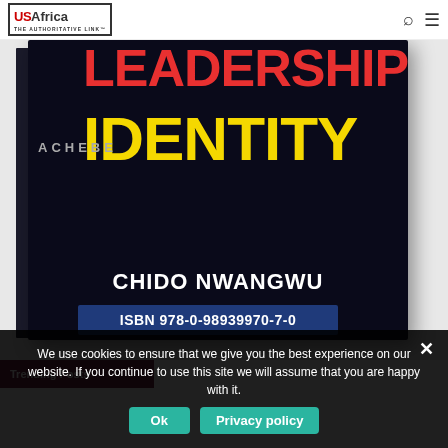USAfrica THE AUTHORITATIVE LINK
[Figure (photo): Book cover for 'Leadership Identity' by Achebe and Chido Nwangwu, dark background with red and yellow text, ISBN 978-0-98939970-7-0]
We use cookies to ensure that we give you the best experience on our website. If you continue to use this site we will assume that you are happy with it.
Ok   Privacy policy